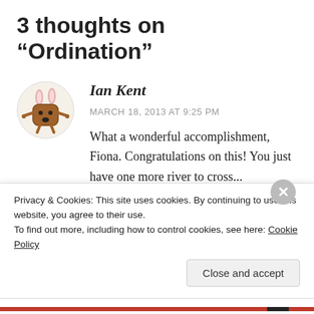3 thoughts on “Ordination”
Ian Kent
MARCH 18, 2013 AT 9:25 PM
What a wonderful accomplishment, Fiona. Congratulations on this! You just have one more river to cross...
Privacy & Cookies: This site uses cookies. By continuing to use this website, you agree to their use. To find out more, including how to control cookies, see here: Cookie Policy
Close and accept